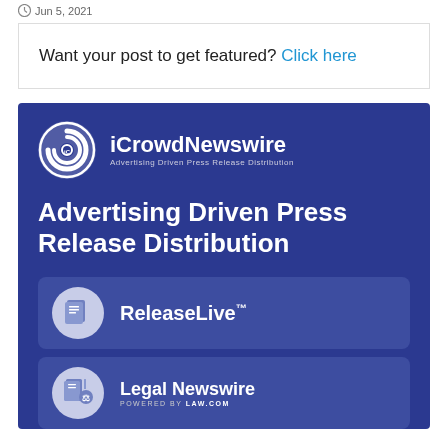Jun 5, 2021
Want your post to get featured? Click here
[Figure (infographic): iCrowdNewswire advertisement banner with logo, tagline 'Advertising Driven Press Release Distribution', and two product cards: ReleaseLive™ and Legal Newswire powered by LAW.COM]